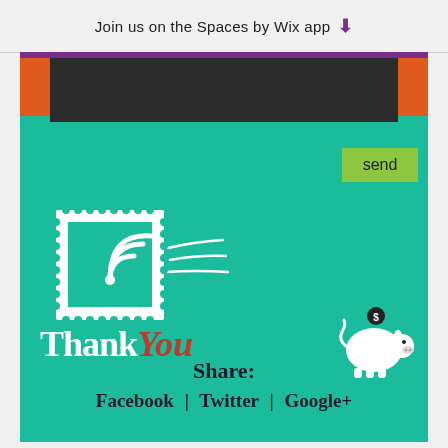Join us on the Spaces by Wix app ⬇
[Figure (screenshot): Teal card with dark banner at top, orange accent squares, a postage stamp illustration with wifi/motion lines, Thank You text (white and red), piggy bank icon, send button, and share links for Facebook, Twitter, Google+]